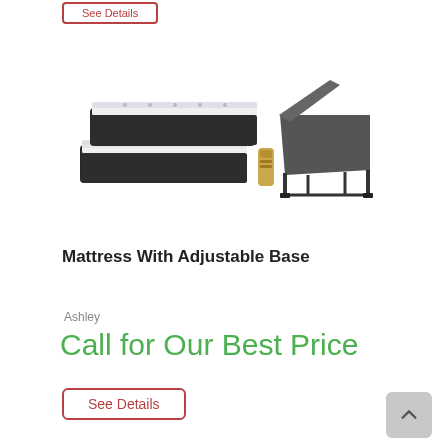[Figure (photo): Product photo showing two mattresses stacked with an adjustable base frame and a remote control, on white background]
Mattress With Adjustable Base
Ashley
Call for Our Best Price
See Details